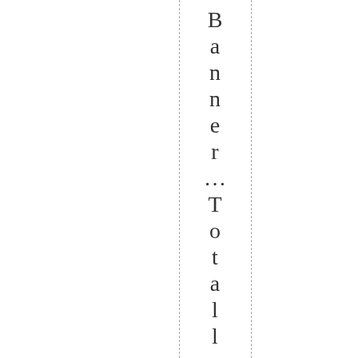Banner ...Totally cool!!! I hope